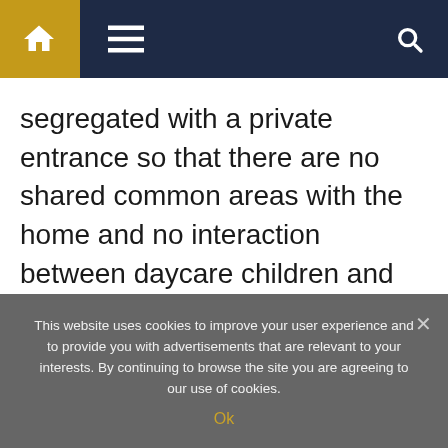Navigation bar with home, menu, and search icons
segregated with a private entrance so that there are no shared common areas with the home and no interaction between daycare children and residents of the facility.
The province now has eight cases of COVID-19 confirmed and 18 presumptive
This website uses cookies to improve your user experience and to provide you with advertisements that are relevant to your interests. By continuing to browse the site you are agreeing to our use of cookies.
Ok